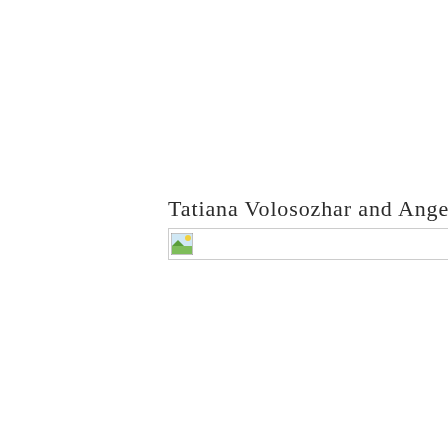Tatiana Volosozhar and Angelica
[Figure (photo): Broken image placeholder with a small thumbnail icon and a horizontal line extending to the right]